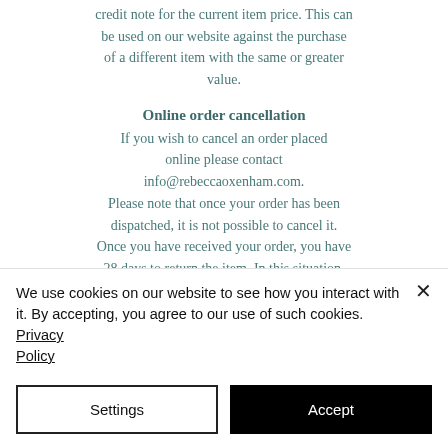credit note for the current item price. This can be used on our website against the purchase of a different item with the same or greater value.
Online order cancellation
If you wish to cancel an order placed online please contact info@rebeccaoxenham.com. Please note that once your order has been dispatched, it is not possible to cancel it. Once you have received your order, you have 28 days to return the item. In this situation, please follow the return instructions. The above does not affect your statutory rights
We use cookies on our website to see how you interact with it. By accepting, you agree to our use of such cookies. Privacy Policy
Settings
Accept